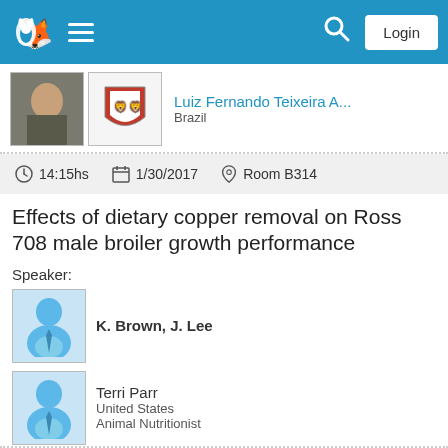Navigation bar with logo, menu, search, and Login button
[Figure (screenshot): Profile row: photo of Luiz Fernando Teixeira A... with Brazil crest, name and country]
Luiz Fernando Teixeira A... Brazil
14:15hs  1/30/2017  Room B314
Effects of dietary copper removal on Ross 708 male broiler growth performance
Speaker:
K. Brown, J. Lee
Terri Parr  United States  Animal Nutritionist
Christopher Eagleson  United States